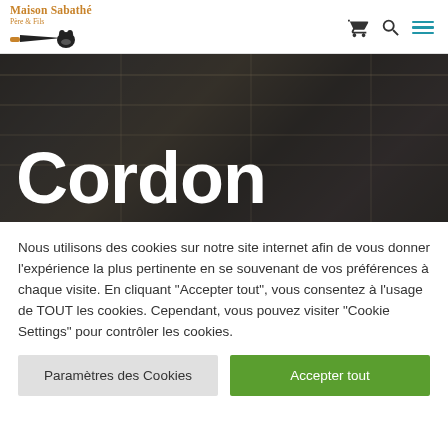Maison Sabathé Père & Fils
[Figure (photo): Shop interior banner image with 'Cordon' title text overlay in large white bold font]
Nous utilisons des cookies sur notre site internet afin de vous donner l'expérience la plus pertinente en se souvenant de vos préférences à chaque visite. En cliquant "Accepter tout", vous consentez à l'usage de TOUT les cookies. Cependant, vous pouvez visiter "Cookie Settings" pour contrôler les cookies.
Paramètres des Cookies
Accepter tout